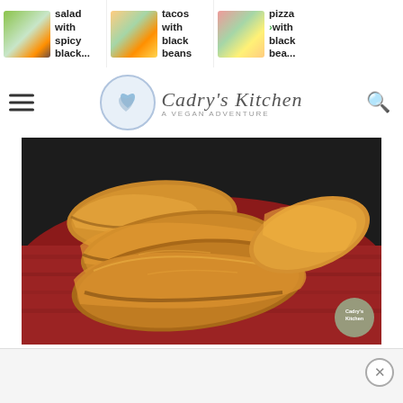salad with spicy black... | tacos with black beans | pizza with black bea...
[Figure (logo): Cadry's Kitchen - A Vegan Adventure blog logo with heart icon and search icon]
[Figure (photo): Golden-brown baked empanadas or hand pies arranged on a red cloth/towel, photographed close-up with a dark background. Cadry's Kitchen watermark badge visible in bottom right.]
[Figure (other): Advertisement bar with close (X) button at bottom of page]